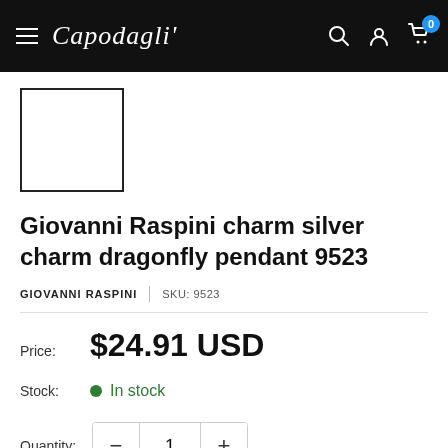Capodagli — navigation header with hamburger menu, logo, search, account, and cart (0 items)
[Figure (photo): Small square product thumbnail placeholder — white box with black border]
Giovanni Raspini charm silver charm dragonfly pendant 9523
GIOVANNI RASPINI | SKU: 9523
Price: $24.91 USD
Stock: In stock
Quantity: 1